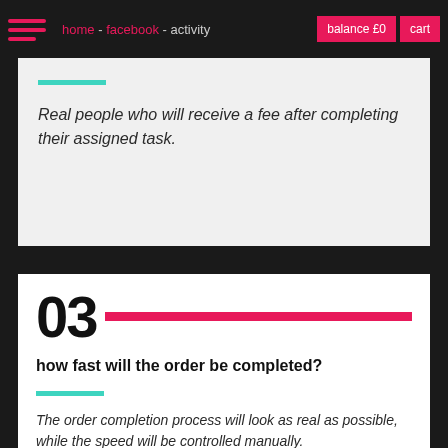home - facebook - activity | balance £0 | cart
Real people who will receive a fee after completing their assigned task.
03 how fast will the order be completed?
The order completion process will look as real as possible, while the speed will be controlled manually.